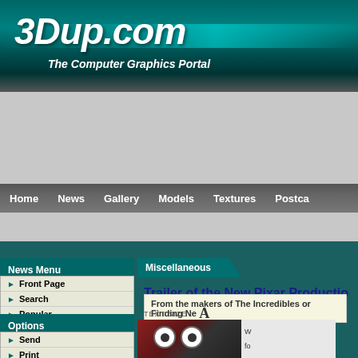3Dup.com — The Computer Graphics Portal
Home | News | Gallery | Models | Textures | Postca...
[Figure (other): Advertisement banner area]
United States
News Menu
Front Page
Search
Popular
Off-Site
Free Content
My Visit
Options
Send
Print
PDF
Miscellaneous
Trailer of the New Pixar Productio...
From the makers of The Incredibles or Finding Ne...
TEXT SIZE :  A
[Figure (photo): Robot character (WALL-E) with large eyes, partial image visible]